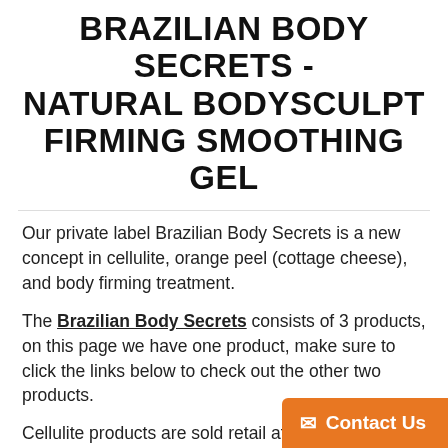BRAZILIAN BODY SECRETS - NATURAL BODYSCULPT FIRMING SMOOTHING GEL
Our private label Brazilian Body Secrets is a new concept in cellulite, orange peel (cottage cheese), and body firming treatment.
The Brazilian Body Secrets consists of 3 products, on this page we have one product, make sure to click the links below to check out the other two products.
Cellulite products are sold retail at $40-110 @Sephora , if you are looking for low-cost cellulite products, then this product may not be the one, our Brazilian Body Secret line contains a powerhouse of high-cost ingredients, the prices listed below are not negotiable.
The 4 oz size of our NATURAL BOD